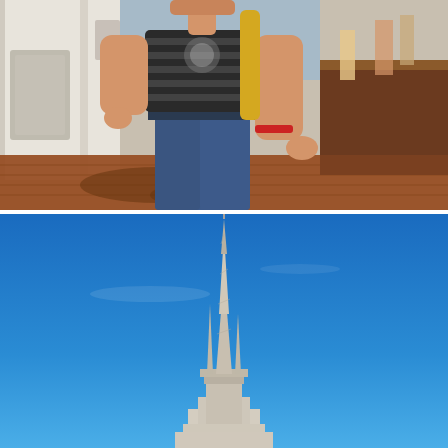[Figure (photo): Person standing outdoors wearing a striped dark grey t-shirt with a cartoon graphic, jeans, and a red wristband, with a yellow bag over shoulder. Background shows brick pavement, white building facade, and other people walking. Appears to be a theme park setting.]
[Figure (photo): Bright blue sky with a tall ornate castle spire visible at the bottom center of the image, appearing to be Cinderella's Castle at Walt Disney World's Magic Kingdom, photographed from below against clear blue sky.]